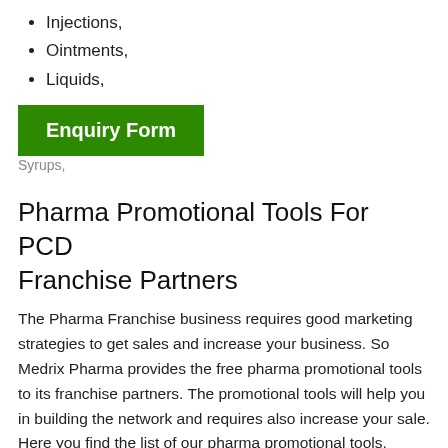Injections,
Ointments,
Liquids,
[Figure (other): Green button labeled 'Enquiry Form']
Syrups,
Pharma Promotional Tools For PCD Franchise Partners
The Pharma Franchise business requires good marketing strategies to get sales and increase your business. So Medrix Pharma provides the free pharma promotional tools to its franchise partners. The promotional tools will help you in building the network and requires also increase your sale. Here you find the list of our pharma promotional tools.
1. Visual Aid
2. Working bags
3. Visiting cards
4. Small gift articles
5. Diaries